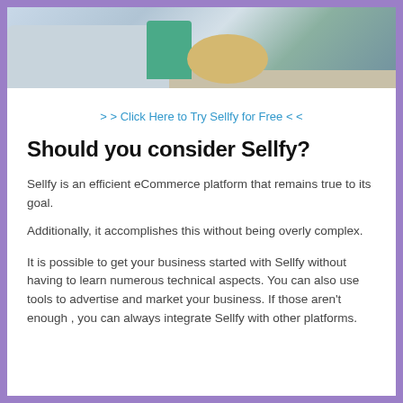[Figure (photo): Interior photo showing a light gray sofa, teal/green chair, and a round wooden coffee table on a light rug]
> > Click Here to Try Sellfy for Free < <
Should you consider Sellfy?
Sellfy is an efficient eCommerce platform that remains true to its goal.
Additionally, it accomplishes this without being overly complex.
It is possible to get your business started with Sellfy without having to learn numerous technical aspects. You can also use tools to advertise and market your business. If those aren't enough , you can always integrate Sellfy with other platforms.